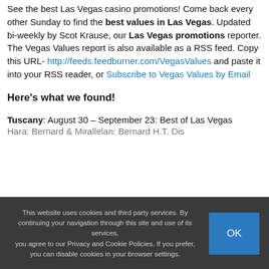See the best Las Vegas casino promotions! Come back every other Sunday to find the best values in Las Vegas. Updated bi-weekly by Scot Krause, our Las Vegas promotions reporter. The Vegas Values report is also available as a RSS feed. Copy this URL- http://feeds.feedburner.com/VegasValues and paste it into your RSS reader, or Subscribe to Vegas Values by Email
Here's what we found!
Tuscany: August 30 – September 23: Best of Las Vegas [cut off]
This website uses cookies and third party services. By continuing your navigation through this site and use of its services, you agree to our Privacy and Cookie Policies. If you prefer, you can disable cookies in your browser settings.